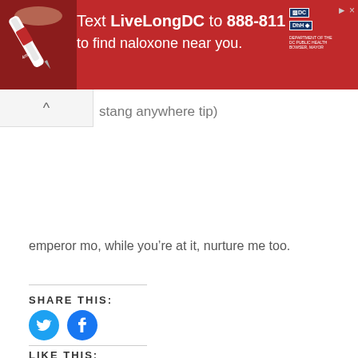[Figure (infographic): Red advertisement banner: 'Text LiveLongDC to 888-811 to find naloxone near you.' with DC and DHH logos on the right and a naloxone pen image on the left.]
stang anywhere tip)
emperor mo, while you’re at it, nurture me too.
SHARE THIS:
[Figure (illustration): Twitter icon circle (blue) and Facebook icon circle (blue)]
LIKE THIS:
Loading...